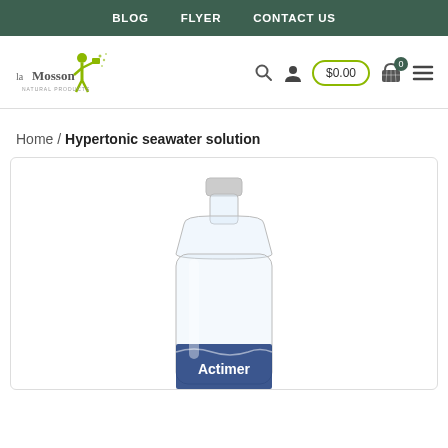BLOG   FLYER   CONTACT US
[Figure (logo): La Moisson logo — green figure carrying a basket with scattered dots, text 'la Moisson']
[Figure (screenshot): E-commerce header icons: search icon, user icon, cart button showing $0.00 with olive green border, basket icon with badge showing 0, hamburger menu icon]
Home / Hypertonic seawater solution
[Figure (photo): Large clear plastic bottle (Actimer hypertonic seawater solution) photographed against white background, partially cropped at bottom]